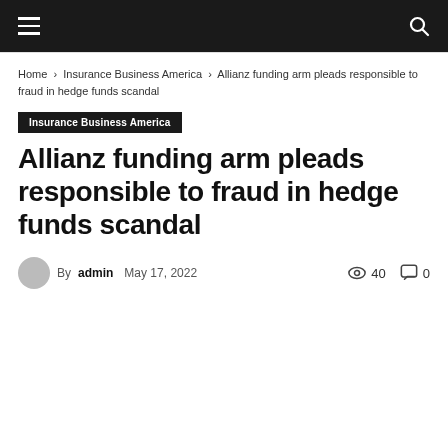Home › Insurance Business America › Allianz funding arm pleads responsible to fraud in hedge funds scandal
Insurance Business America
Allianz funding arm pleads responsible to fraud in hedge funds scandal
By admin   May 17, 2022   40   0